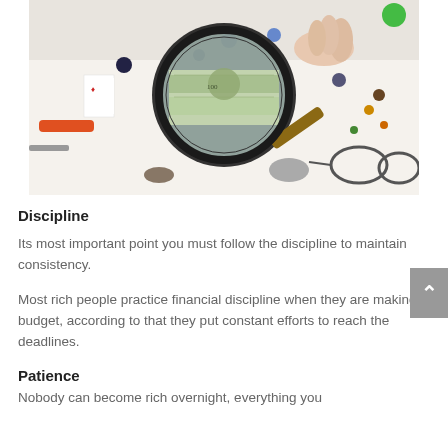[Figure (photo): A hand holding a magnifying glass over scattered objects on a table including playing cards, marbles, pens, and various small items, with US dollar bills visible through the magnifying glass lens.]
Discipline
Its most important point you must follow the discipline to maintain consistency.
Most rich people practice financial discipline when they are making a budget, according to that they put constant efforts to reach the deadlines.
Patience
Nobody can become rich overnight, everything you